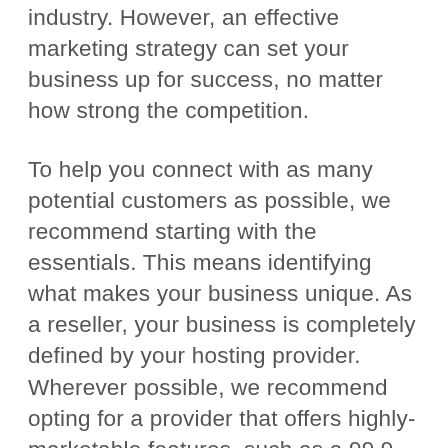industry. However, an effective marketing strategy can set your business up for success, no matter how strong the competition.
To help you connect with as many potential customers as possible, we recommend starting with the essentials. This means identifying what makes your business unique. As a reseller, your business is completely defined by your hosting provider. Wherever possible, we recommend opting for a provider that offers highly-marketable features, such as a 99.9 percent uptime guarantee.
After ensuring that your business has a